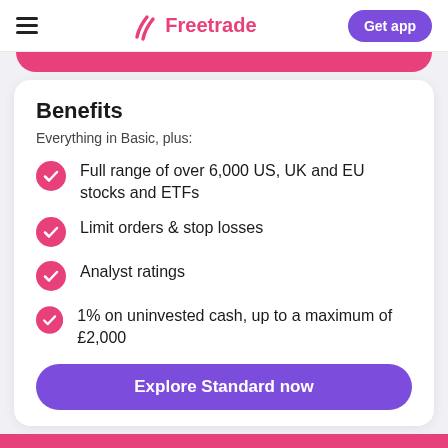Freetrade — Get app
Benefits
Everything in Basic, plus:
Full range of over 6,000 US, UK and EU stocks and ETFs
Limit orders & stop losses
Analyst ratings
1% on uninvested cash, up to a maximum of £2,000
Explore Standard now